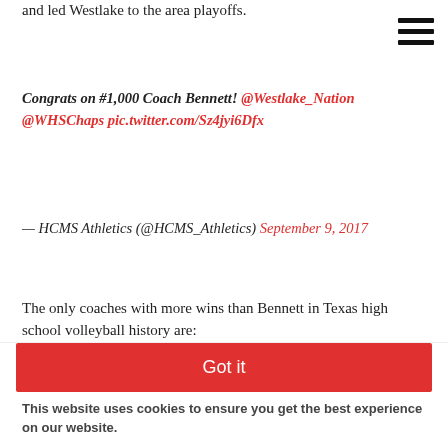and led Westlake to the area playoffs.
Congrats on #1,000 Coach Bennett! @Westlake_Nation @WHSChaps pic.twitter.com/Sz4jyi6Dfx
— HCMS Athletics (@HCMS_Athletics) September 9, 2017
The only coaches with more wins than Bennett in Texas high school volleyball history are:
Barbara Comeaux (Port Neches-Grove) – 1,179 through Sept. 8
Billy Bob Evans (Jewett Leon) – 1,079
Jan Barker (Amarillo) – 1,061 through Sept. 8
Got it
This website uses cookies to ensure you get the best experience on our website.